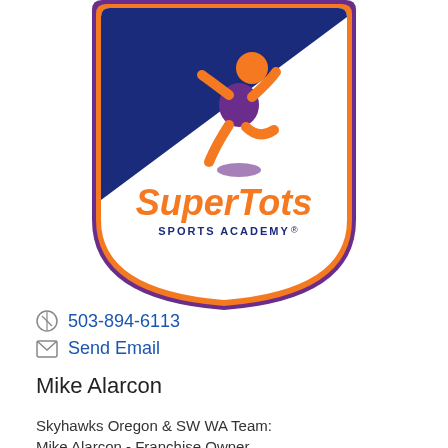[Figure (logo): SuperTots Sports Academy shield logo with orange running child figure, navy blue and white shield background with orange and purple border, orange 'SuperTots' text and 'SPORTS ACADEMY' below]
503-894-6113
Send Email
Mike Alarcon
Skyhawks Oregon & SW WA Team:
Mike Alarcon - Franchise Owner
Tom Neri - Area Manager
Evan Ransom - Area Manager